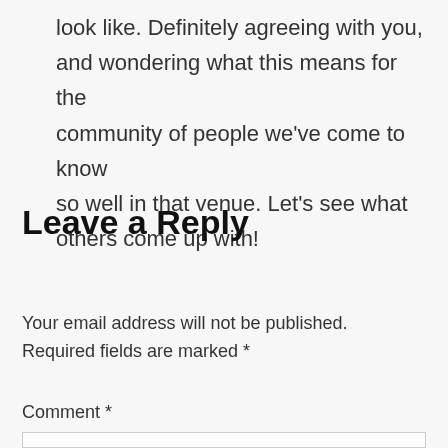look like. Definitely agreeing with you, and wondering what this means for the community of people we've come to know so well in that venue. Let's see what others come up with!
Leave a Reply
Your email address will not be published. Required fields are marked *
Comment *